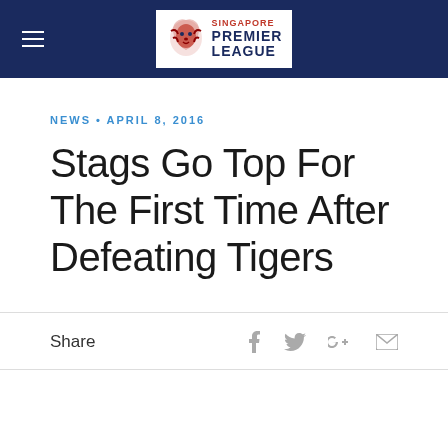Singapore Premier League
NEWS • APRIL 8, 2016
Stags Go Top For The First Time After Defeating Tigers
Share